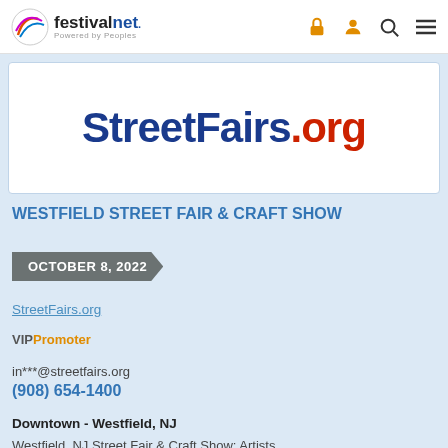[Figure (logo): FestivalNet logo with multicolor circular design and text 'festivalnet. Powered by Peoples']
[Figure (logo): StreetFairs.org banner logo with 'StreetFairs' in dark blue and '.org' in red]
WESTFIELD STREET FAIR & CRAFT SHOW
OCTOBER 8, 2022
StreetFairs.org
VIPPromoter
in***@streetfairs.org
(908) 654-1400
Downtown - Westfield, NJ
Westfield, NJ Street Fair & Craft Show: Artists